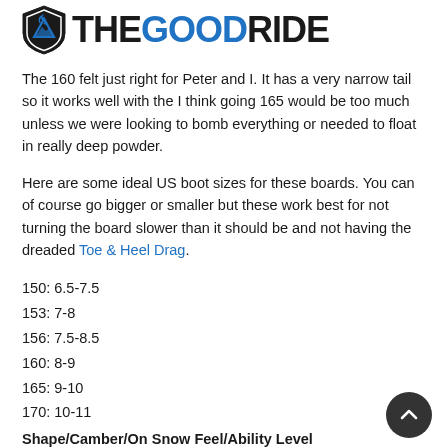[Figure (logo): The Good Ride logo with shield icon and text — THE GOOD RIDE where GOOD is in blue and the rest is black]
The 160 felt just right for Peter and I. It has a very narrow tail so it works well with the I think going 165 would be too much unless we were looking to bomb everything or needed to float in really deep powder.
Here are some ideal US boot sizes for these boards. You can of course go bigger or smaller but these work best for not turning the board slower than it should be and not having the dreaded Toe & Heel Drag.
150: 6.5-7.5
153: 7-8
156: 7.5-8.5
160: 8-9
165: 9-10
170: 10-11
Shape/Camber/On Snow Feel/Ability Level